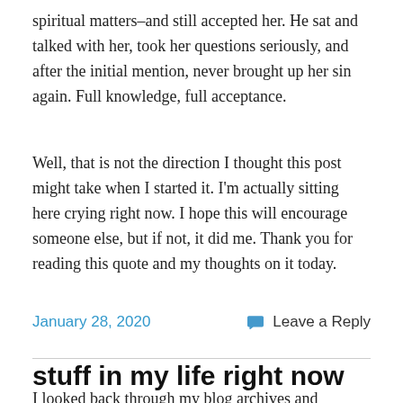spiritual matters–and still accepted her. He sat and talked with her, took her questions seriously, and after the initial mention, never brought up her sin again. Full knowledge, full acceptance.
Well, that is not the direction I thought this post might take when I started it. I'm actually sitting here crying right now. I hope this will encourage someone else, but if not, it did me. Thank you for reading this quote and my thoughts on it today.
January 28, 2020
Leave a Reply
stuff in my life right now
I looked back through my blog archives and realized that